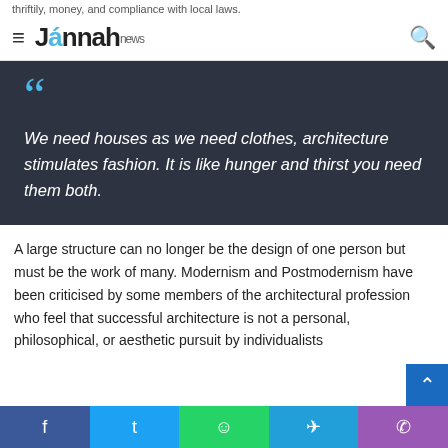thriftily, money, and compliance with local laws.
Jannah news
We need houses as we need clothes, architecture stimulates fashion. It is like hunger and thirst you need them both.
A large structure can no longer be the design of one person but must be the work of many. Modernism and Postmodernism have been criticised by some members of the architectural profession who feel that successful architecture is not a personal, philosophical, or aesthetic pursuit by individualists...